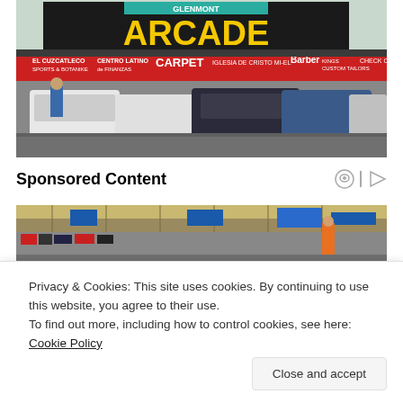[Figure (photo): Parking lot scene in front of a strip mall with an 'ARCADE' sign (Glenmont Arcade). Storefronts visible include El Cuzcatleco, Centro Latino de Finanzas, Carpet store, Iglesia de Cristo, Barber, Kings Custom Tailors, Check Cash. Multiple cars parked in the lot.]
Sponsored Content
[Figure (photo): Interior of a large retail store (appears to be a hardware or big-box store) with shelving aisles visible.]
Privacy & Cookies: This site uses cookies. By continuing to use this website, you agree to their use.
To find out more, including how to control cookies, see here: Cookie Policy